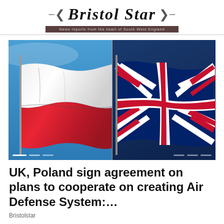Bristol Star — News reports from the heart of South West England
[Figure (photo): Side-by-side photos of the Polish flag (white and red horizontal stripes, waving against blue sky) on the left and the British Union Jack flag (red, white and blue, waving against deep blue sky) on the right.]
UK, Poland sign agreement on plans to cooperate on creating Air Defense System:…
Bristolstar